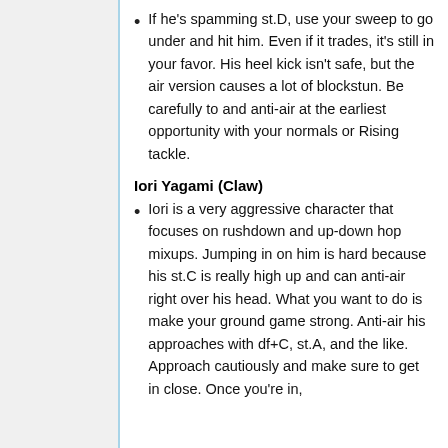If he's spamming st.D, use your sweep to go under and hit him. Even if it trades, it's still in your favor. His heel kick isn't safe, but the air version causes a lot of blockstun. Be carefully to and anti-air at the earliest opportunity with your normals or Rising tackle.
Iori Yagami (Claw)
Iori is a very aggressive character that focuses on rushdown and up-down hop mixups. Jumping in on him is hard because his st.C is really high up and can anti-air right over his head. What you want to do is make your ground game strong. Anti-air his approaches with df+C, st.A, and the like. Approach cautiously and make sure to get in close. Once you're in,